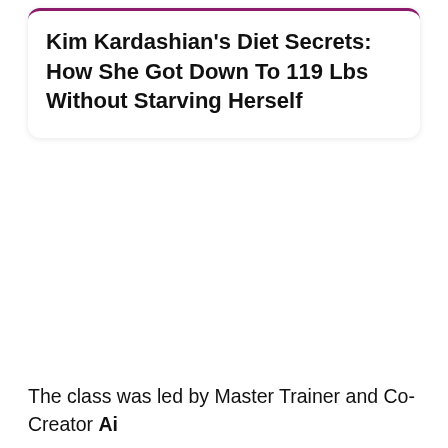Kim Kardashian's Diet Secrets: How She Got Down To 119 Lbs Without Starving Herself
The class was led by Master Trainer and Co-Creator Ai